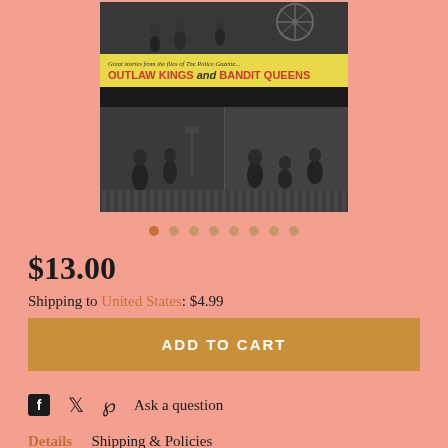[Figure (photo): Book cover for 'Outlaw Kings and Bandit Queens' with a yellow banner headline and black and white illustrated scenes of action figures]
• • • • • • • • (image carousel dots)
$13.00
Shipping to United States: $4.99
ADD TO CART
Ask a question
Details   Shipping & Policies